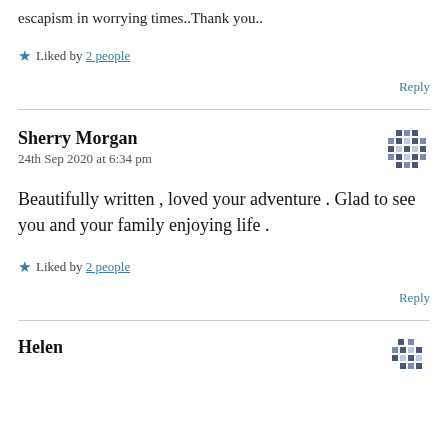escapism in worrying times..Thank you..
Liked by 2 people
Reply
Sherry Morgan
24th Sep 2020 at 6:34 pm
Beautifully written , loved your adventure . Glad to see you and your family enjoying life .
Liked by 2 people
Reply
Helen